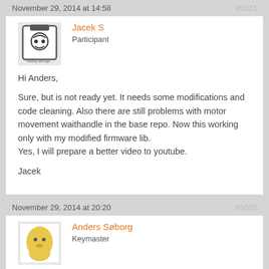November 29, 2014 at 14:38  #5021
[Figure (photo): Avatar image for Jacek S — a cartoon robot/badge icon on white background]
Jacek S
Participant
Hi Anders,

Sure, but is not ready yet. It needs some modifications and code cleaning. Also there are still problems with motor movement waithandle in the base repo. Now this working only with my modified firmware lib.
Yes, I will prepare a better video to youtube.

Jacek
November 29, 2014 at 20:20  #5022
[Figure (photo): Avatar photo for Anders Søborg — a yellow plushie/toy figure on white background]
Anders Søborg
Keymaster